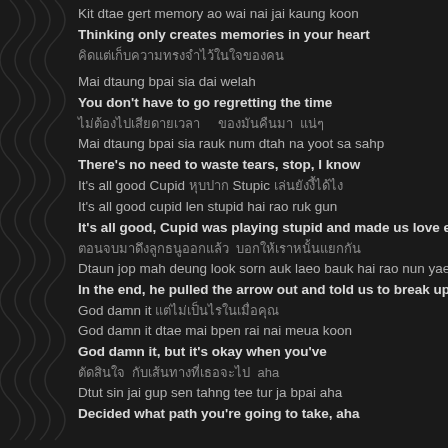Kit dtae gert memory ao wai nai jai kaung koon
Thinking only creates memories in your heart
Thai script line 1
Mai dtaung bpai sia dai welah
You don't have to go regretting the time
Thai script line 2
Mai dtaung bpai sia rauk num dtah na yoot sa sahp
There's no need to waste tears, stop, I know
It's all good Cupid [Thai] Stupic [Thai]
It's all good cupid len stupid hai rao ruk gun
It's all good, Cupid was playing stupid and made us love each
Thai script line 3
Dtaun jop mah deung look sorn auk laeo bauk hai rao nun yaek g
In the end, he pulled the arrow out and told us to break up
God damn it [Thai]
God damn it dtae mai bpen rai nai meua koon
God damn it, but it's okay when you've
Thai script line 4 aha
Dtut sin jai gup sen tahng tee tur ja bpai aha
Decided what path you're going to take, aha